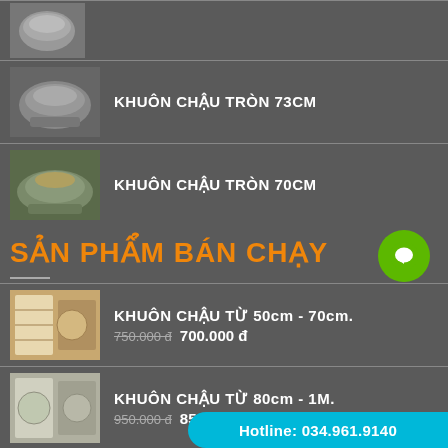[Figure (photo): Small circular stone pot product image at top]
KHUÔN CHẬU TRÒN 73CM
[Figure (photo): Stone round pot product image 73cm]
KHUÔN CHẬU TRÒN 70CM
[Figure (photo): Stone round pot product image 70cm]
SẢN PHẨM BÁN CHẠY
KHUÔN CHẬU TỪ 50cm - 70cm.
750.000 đ  700.000 đ
[Figure (photo): Khuon chau product image 50-70cm]
KHUÔN CHẬU TỪ 80cm - 1M.
950.000 đ  850.000 đ
[Figure (photo): Khuon chau product image 80cm-1M]
Hotline: 034.961.9140